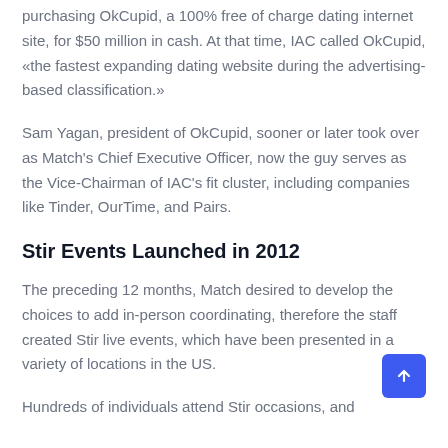purchasing OkCupid, a 100% free of charge dating internet site, for $50 million in cash. At that time, IAC called OkCupid, «the fastest expanding dating website during the advertising-based classification.»
Sam Yagan, president of OkCupid, sooner or later took over as Match's Chief Executive Officer, now the guy serves as the Vice-Chairman of IAC's fit cluster, including companies like Tinder, OurTime, and Pairs.
Stir Events Launched in 2012
The preceding 12 months, Match desired to develop the choices to add in-person coordinating, therefore the staff created Stir live events, which have been presented in a variety of locations in the US.
Hundreds of individuals attend Stir occasions, and